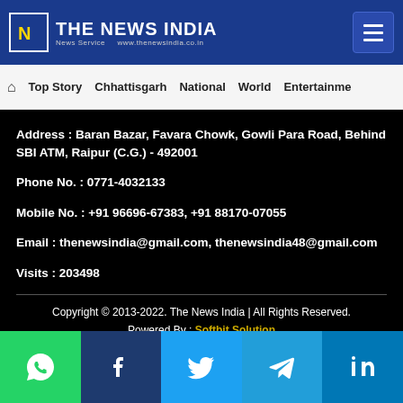THE NEWS INDIA — News Service — www.thenewsindia.co.in
Home | Top Story | Chhattisgarh | National | World | Entertainment
Address : Baran Bazar, Favara Chowk, Gowli Para Road, Behind SBI ATM, Raipur (C.G.) - 492001
Phone No. : 0771-4032133
Mobile No. : +91 96696-67383, +91 88170-07055
Email : thenewsindia@gmail.com, thenewsindia48@gmail.com
Visits : 203498
Copyright © 2013-2022. The News India | All Rights Reserved.
Powered By : Softbit Solution
About Us / Privacy Policy / Terms & Conditions / Disclaimer
[Figure (infographic): Social media share bar with WhatsApp, Facebook, Twitter, Telegram, and LinkedIn icons]